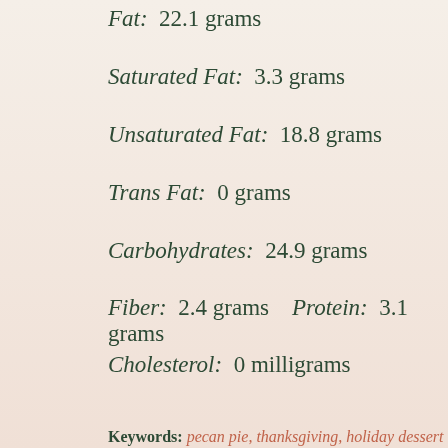Fat: 22.1 grams
Saturated Fat: 3.3 grams
Unsaturated Fat: 18.8 grams
Trans Fat: 0 grams
Carbohydrates: 24.9 grams
Fiber: 2.4 grams   Protein: 3.1 grams
Cholesterol: 0 milligrams
Keywords: pecan pie, thanksgiving, holiday dessert
[Figure (logo): Instagram logo icon in dark green]